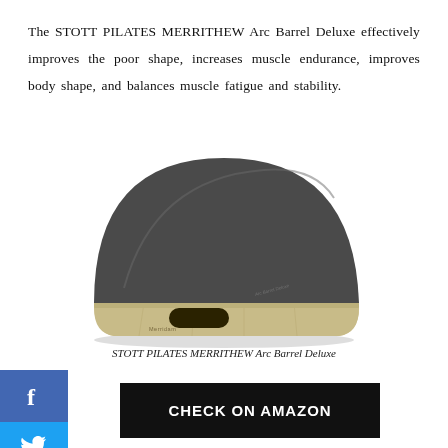The STOTT PILATES MERRITHEW Arc Barrel Deluxe effectively improves the poor shape, increases muscle endurance, improves body shape, and balances muscle fatigue and stability.
[Figure (photo): Photo of the STOTT PILATES MERRITHEW Arc Barrel Deluxe — a dark grey upholstered arc-shaped fitness barrel with a natural wood base and a handle cutout, with branding text on the side.]
STOTT PILATES MERRITHEW Arc Barrel Deluxe
[Figure (logo): Facebook social share button — blue square with white 'f' icon]
[Figure (logo): Twitter social share button — light blue square with white bird icon]
[Figure (logo): LinkedIn social share button — blue square with white 'in' text]
CHECK ON AMAZON